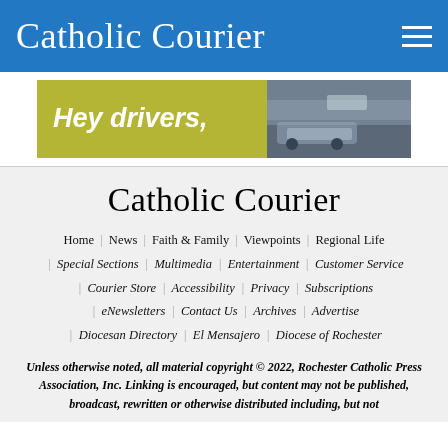Catholic Courier
[Figure (photo): Advertisement banner with olive/yellow-green background reading 'Hey drivers,' in bold italic white text on the left, and a photo of a car in winter/snowy conditions on the right.]
Catholic Courier
Home | News | Faith & Family | Viewpoints | Regional Life
| Special Sections | Multimedia | Entertainment | Customer Service
| Courier Store | Accessibility | Privacy | Subscriptions
| eNewsletters | Contact Us | Archives | Advertise
| Diocesan Directory | El Mensajero | Diocese of Rochester
Unless otherwise noted, all material copyright © 2022, Rochester Catholic Press Association, Inc. Linking is encouraged, but content may not be published, broadcast, rewritten or otherwise distributed including, but not